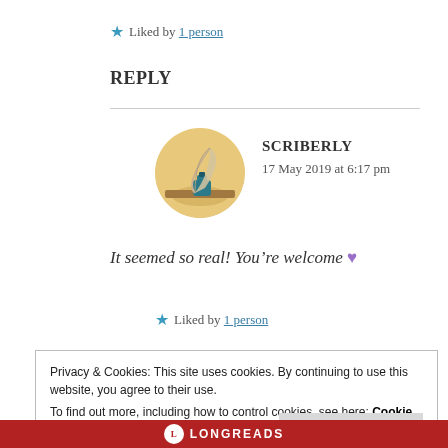★ Liked by 1 person
REPLY
[Figure (illustration): Circular avatar showing a feather quill pen dipping into an ink bottle, warm golden background]
SCRIBERLY
17 May 2019 at 6:17 pm
It seemed so real! You're welcome 💜
★ Liked by 1 person
Privacy & Cookies: This site uses cookies. By continuing to use this website, you agree to their use.
To find out more, including how to control cookies, see here: Cookie Policy
Close and accept
LONGREADS